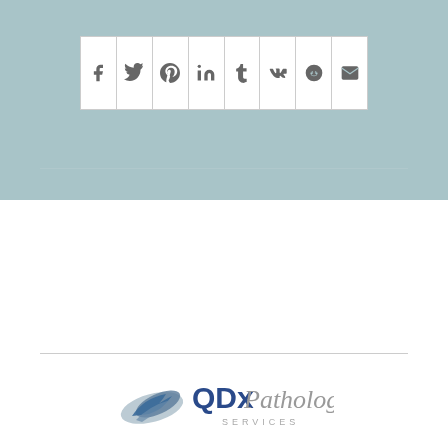[Figure (other): Social media share buttons bar with icons: Facebook, Twitter, Pinterest, LinkedIn, Tumblr, VKontakte, Reddit, Email]
[Figure (logo): QDx Pathology Services logo with stylized bird/wing icon in blue-grey and text 'QDx' in dark blue bold, 'Pathology' in grey italic, 'SERVICES' in grey small caps below]
Medical Director at QDX Pathology Laboratory